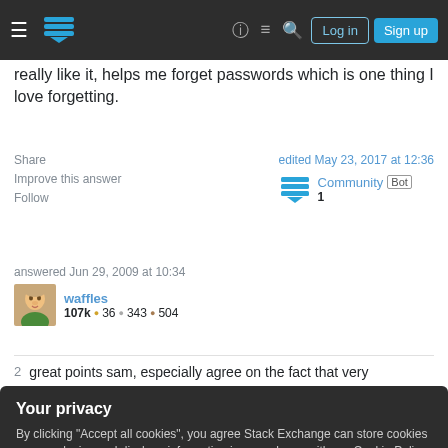Stack Exchange navigation bar with Log in and Sign up buttons
really like it, helps me forget passwords which is one thing I love forgetting.
Share | edited May 23, 2017 at 12:36 | Community Bot 1
Improve this answer
Follow
answered Jun 29, 2009 at 10:34
waffles
107k ● 36 ● 343 ● 504
2   great points sam, especially agree on the fact that very
Your privacy
By clicking "Accept all cookies", you agree Stack Exchange can store cookies on your device and disclose information in accordance with our Cookie Policy.
this though: with everyone competing to be the first